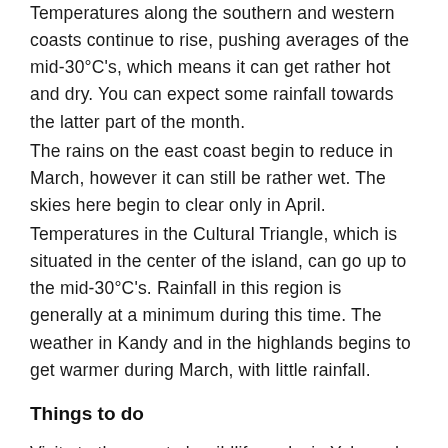Temperatures along the southern and western coasts continue to rise, pushing averages of the mid-30°C's, which means it can get rather hot and dry. You can expect some rainfall towards the latter part of the month.
The rains on the east coast begin to reduce in March, however it can still be rather wet. The skies here begin to clear only in April.
Temperatures in the Cultural Triangle, which is situated in the center of the island, can go up to the mid-30°C's. Rainfall in this region is generally at a minimum during this time. The weather in Kandy and in the highlands begins to get warmer during March, with little rainfall.
Things to do
Visits to the country's wildlife parks in Yala and